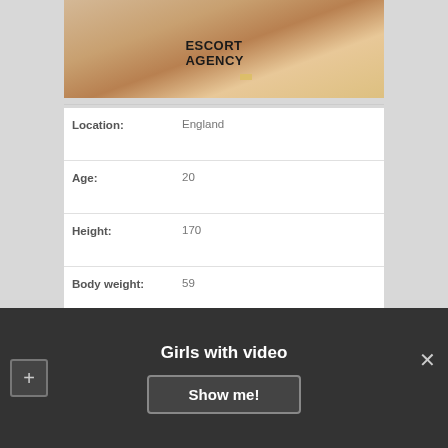[Figure (photo): Partial photo of a person with striped socks, with text overlay 'ESCORT AGENCY']
| Location: | England |
| Age: | 20 |
| Height: | 170 |
| Body weight: | 59 |
| Availability: | 11:00 – 23:00 |
| Couples: | 330$ |
| Sex Preferences: | Bondage, Role playing□, Striptease amateur |
Girls with video
Show me!